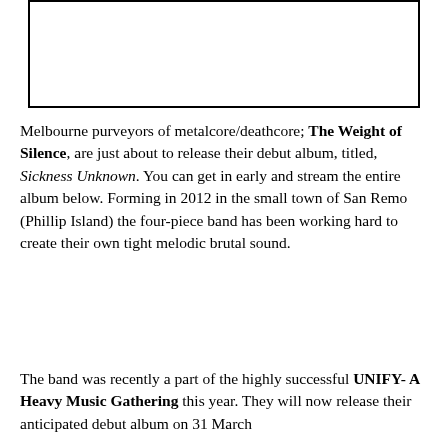[Figure (other): Empty white rectangle with black border, likely a placeholder for an image]
Melbourne purveyors of metalcore/deathcore; The Weight of Silence, are just about to release their debut album, titled, Sickness Unknown. You can get in early and stream the entire album below. Forming in 2012 in the small town of San Remo (Phillip Island) the four-piece band has been working hard to create their own tight melodic brutal sound.
The band was recently a part of the highly successful UNIFY- A Heavy Music Gathering this year. They will now release their anticipated debut album on 31 March